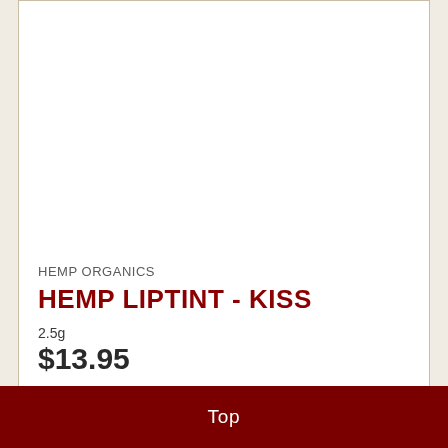HEMP ORGANICS
HEMP LIPTINT - KISS
2.5g
$13.95
1
Add to Cart
[Figure (photo): A lip tint product tube/stick in a light beige/cream colored cylinder package, partially visible at the bottom of the page]
Top